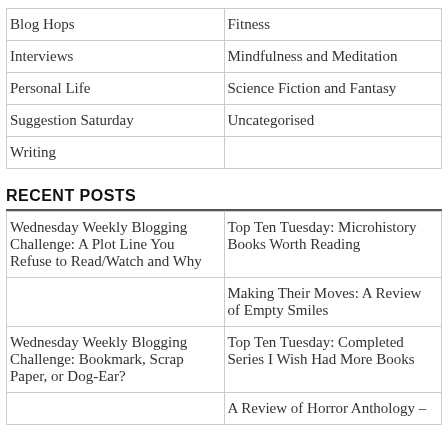| Blog Hops | Fitness |
| Interviews | Mindfulness and Meditation |
| Personal Life | Science Fiction and Fantasy |
| Suggestion Saturday | Uncategorised |
| Writing |  |
RECENT POSTS
| Wednesday Weekly Blogging Challenge: A Plot Line You Refuse to Read/Watch and Why | Top Ten Tuesday: Microhistory Books Worth Reading |
|  | Making Their Moves: A Review of Empty Smiles |
| Wednesday Weekly Blogging Challenge: Bookmark, Scrap Paper, or Dog-Ear? | Top Ten Tuesday: Completed Series I Wish Had More Books |
|  | A Review of Horror Anthology – |